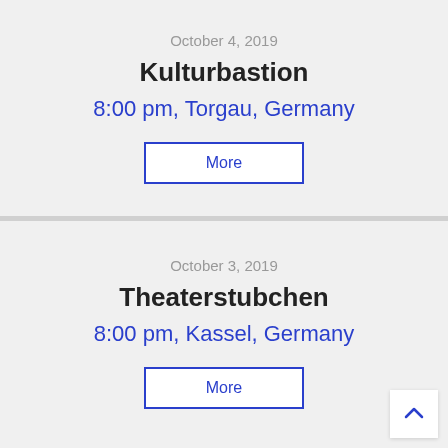October 4, 2019
Kulturbastion
8:00 pm, Torgau, Germany
More
October 3, 2019
Theaterstubchen
8:00 pm, Kassel, Germany
More